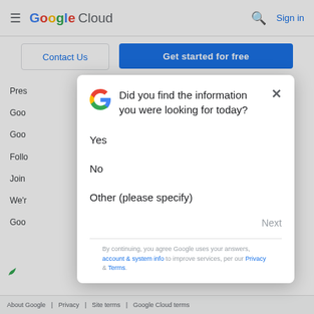Google Cloud  Sign in
Contact Us  Get started for free
Pres
Goo
Goo
Follo
Join
We'r
Goo
Did you find the information you were looking for today?
Yes
No
Other (please specify)
Next
By continuing, you agree Google uses your answers, account & system info to improve services, per our Privacy & Terms.
About Google | Privacy | Site terms | Google Cloud terms